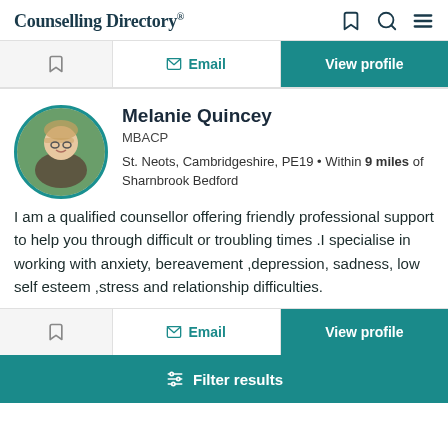Counselling Directory
Email | View profile
Melanie Quincey
MBACP
St. Neots, Cambridgeshire, PE19 • Within 9 miles of Sharnbrook Bedford
I am a qualified counsellor offering friendly professional support to help you through difficult or troubling times .I specialise in working with anxiety, bereavement ,depression, sadness, low self esteem ,stress and relationship difficulties.
Email | View profile
Filter results